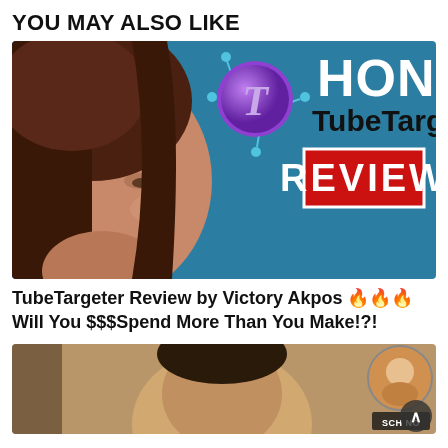YOU MAY ALSO LIKE
[Figure (screenshot): Thumbnail image for a YouTube review video showing a woman with dark hair on a teal background, a purple circle with letter T icon, and text reading HONEST TubeTargeter REVIEW in white and a red box]
TubeTargeter Review by Victory Akpos 🔥🔥🔥 Will You $$$Spend More Than You Make!?!
[Figure (screenshot): Partial thumbnail image of a man's face on a tan/brown background with a circular avatar in the top right and a dark label overlay at bottom right]